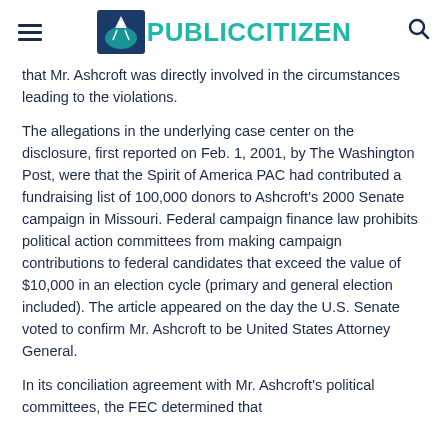PUBLICCITIZEN
that Mr. Ashcroft was directly involved in the circumstances leading to the violations.
The allegations in the underlying case center on the disclosure, first reported on Feb. 1, 2001, by The Washington Post, were that the Spirit of America PAC had contributed a fundraising list of 100,000 donors to Ashcroft's 2000 Senate campaign in Missouri. Federal campaign finance law prohibits political action committees from making campaign contributions to federal candidates that exceed the value of $10,000 in an election cycle (primary and general election included). The article appeared on the day the U.S. Senate voted to confirm Mr. Ashcroft to be United States Attorney General.
In its conciliation agreement with Mr. Ashcroft's political committees, the FEC determined that